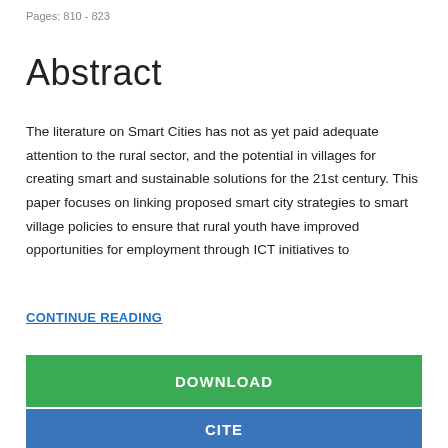Pages: 810 - 823
Abstract
The literature on Smart Cities has not as yet paid adequate attention to the rural sector, and the potential in villages for creating smart and sustainable solutions for the 21st century. This paper focuses on linking proposed smart city strategies to smart village policies to ensure that rural youth have improved opportunities for employment through ICT initiatives to
CONTINUE READING
DOWNLOAD
CITE